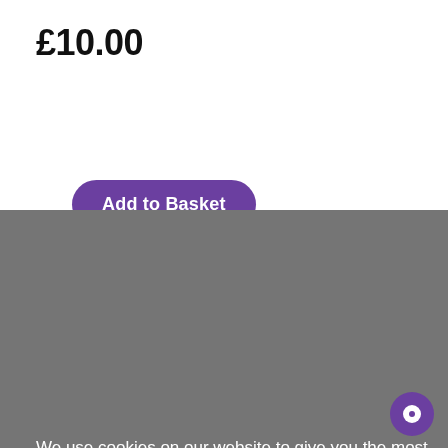£10.00
Add to Basket
We use cookies on our website to give you the most relevant experience by remembering your preferences and repeat visits. By clicking "ACCEPT ALL", you consent to the use of ALL the cookies. However, you may visit "Cookie Settings" to provide a controlled consent.
Cookie Settings
REJECT ALL
ACCEPT ALL